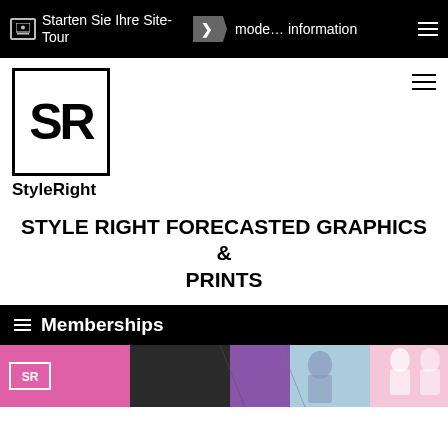Starten Sie Ihre Site-Tour  mode… information
[Figure (logo): StyleRight logo: SR in bold inside a square border, with 'StyleRight' text below]
STYLE RIGHT FORECASTED GRAPHICS & PRINTS
≡ Memberships
[Figure (photo): Banner strip with fashion images on pink, dark, purple backgrounds showing clothing illustrations]
text
Suche
STYLE RIG